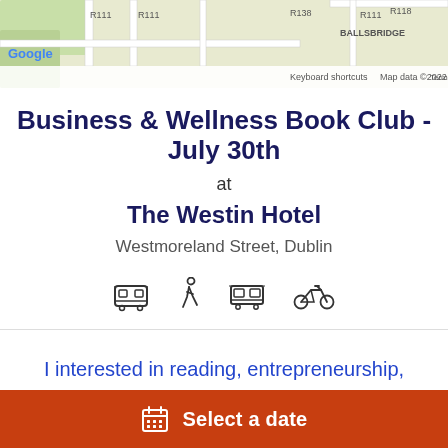[Figure (map): Google Maps screenshot showing Dublin road map with labels R111, R138, R118, BALLSBRIDGE area]
Business & Wellness Book Club - July 30th
at
The Westin Hotel
Westmoreland Street, Dublin
[Figure (infographic): Four transport icons: bus, walking person, tram/bus, bicycle]
I interested in reading, entrepreneurship,
Free
Select a date